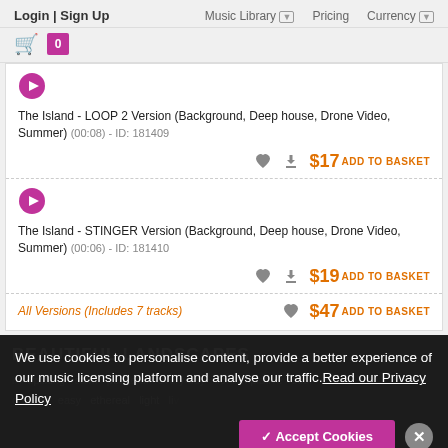Login | Sign Up  Music Library  Pricing  Currency
The Island - LOOP 2 Version (Background, Deep house, Drone Video, Summer) (00:08) - ID: 181409 — $17 ADD TO BASKET
The Island - STINGER Version (Background, Deep house, Drone Video, Summer) (00:06) - ID: 181410 — $19 ADD TO BASKET
All Versions (Includes 7 tracks) — $47 ADD TO BASKET
BEAUTIFUL LANDSCAPES
We use cookies to personalise content, provide a better experience of our music licensing platform and analyse our traffic. Read our Privacy Policy
✓ Accept Cookies